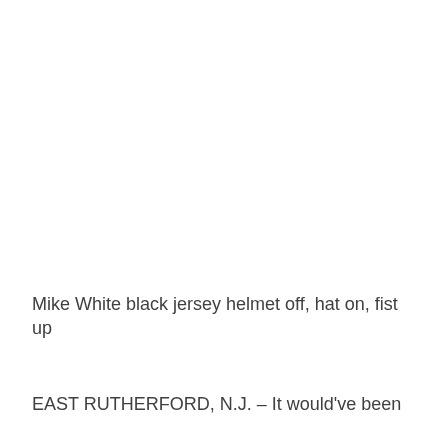[Figure (photo): Large white/blank area occupying the top two-thirds of the page, representing an image placeholder or a photo of Mike White.]
Mike White black jersey helmet off, hat on, fist up
EAST RUTHERFORD, N.J. – It would've been